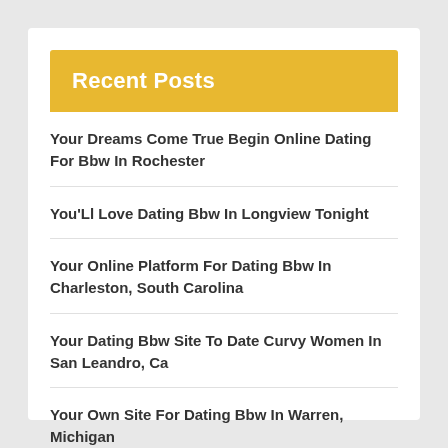Recent Posts
Your Dreams Come True Begin Online Dating For Bbw In Rochester
You'Ll Love Dating Bbw In Longview Tonight
Your Online Platform For Dating Bbw In Charleston, South Carolina
Your Dating Bbw Site To Date Curvy Women In San Leandro, Ca
Your Own Site For Dating Bbw In Warren, Michigan